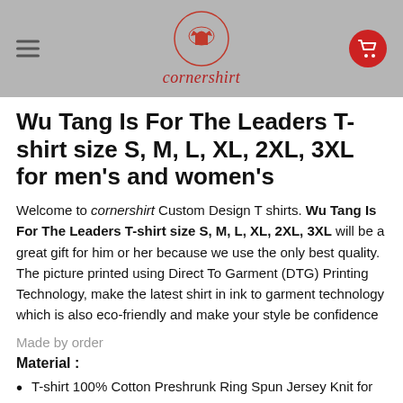cornershirt
Wu Tang Is For The Leaders T-shirt size S, M, L, XL, 2XL, 3XL for men's and women's
Welcome to cornershirt Custom Design T shirts. Wu Tang Is For The Leaders T-shirt size S, M, L, XL, 2XL, 3XL will be a great gift for him or her because we use the only best quality. The picture printed using Direct To Garment (DTG) Printing Technology, make the latest shirt in ink to garment technology which is also eco-friendly and make your style be confidence
Made by order
Material :
T-shirt 100% Cotton Preshrunk Ring Spun Jersey Knit for